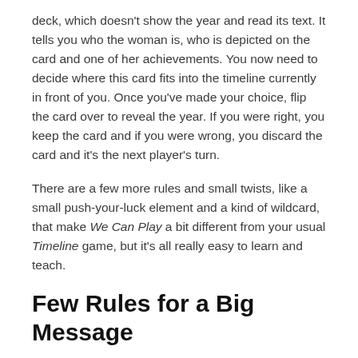deck, which doesn't show the year and read its text. It tells you who the woman is, who is depicted on the card and one of her achievements. You now need to decide where this card fits into the timeline currently in front of you. Once you've made your choice, flip the card over to reveal the year. If you were right, you keep the card and if you were wrong, you discard the card and it's the next player's turn.
There are a few more rules and small twists, like a small push-your-luck element and a kind of wildcard, that make We Can Play a bit different from your usual Timeline game, but it's all really easy to learn and teach.
Few Rules for a Big Message
It is the fact that there are so very few rules that is so important, in my view. Without the rules overhead, you can really focus on the women and their achievements.